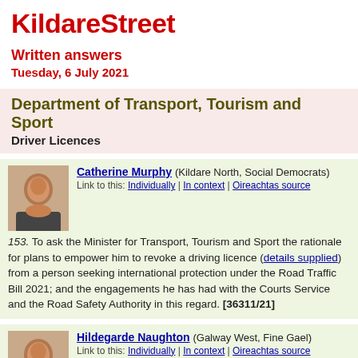KildareStreet
Written answers
Tuesday, 6 July 2021
Department of Transport, Tourism and Sport
Driver Licences
Catherine Murphy (Kildare North, Social Democrats)
Link to this: Individually | In context | Oireachtas source
153. To ask the Minister for Transport, Tourism and Sport the rationale for plans to empower him to revoke a driving licence (details supplied) from a person seeking international protection under the Road Traffic Bill 2021; and the engagements he has had with the Courts Service and the Road Safety Authority in this regard. [36311/21]
Hildegarde Naughton (Galway West, Fine Gael)
Link to this: Individually | In context | Oireachtas source
As set out in the Programme for Government, the Government will act on interim recommendations from the Chair of the